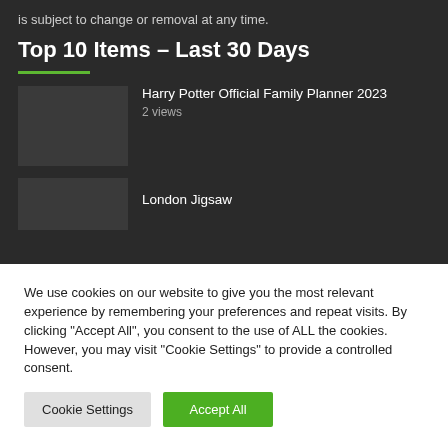is subject to change or removal at any time.
Top 10 Items – Last 30 Days
Harry Potter Official Family Planner 2023 — 2 views
London Jigsaw
We use cookies on our website to give you the most relevant experience by remembering your preferences and repeat visits. By clicking "Accept All", you consent to the use of ALL the cookies. However, you may visit "Cookie Settings" to provide a controlled consent.